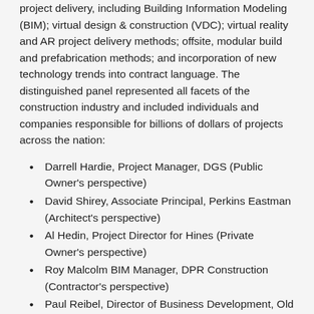project delivery, including Building Information Modeling (BIM); virtual design & construction (VDC); virtual reality and AR project delivery methods; offsite, modular build and prefabrication methods; and incorporation of new technology trends into contract language. The distinguished panel represented all facets of the construction industry and included individuals and companies responsible for billions of dollars of projects across the nation:
Darrell Hardie, Project Manager, DGS (Public Owner's perspective)
David Shirey, Associate Principal, Perkins Eastman (Architect's perspective)
Al Hedin, Project Director for Hines (Private Owner's perspective)
Roy Malcolm BIM Manager, DPR Construction (Contractor's perspective)
Paul Reibel, Director of Business Development, Old Castle (Manufacturer/Subcontractor's perspective)
Tiffany Hosey, President of BuilDATAAnalytics (will offer perspectives from all sides)